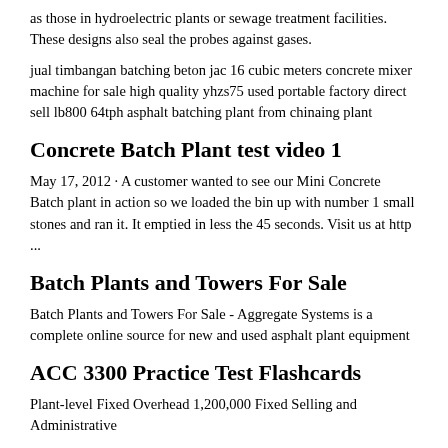as those in hydroelectric plants or sewage treatment facilities. These designs also seal the probes against gases.
jual timbangan batching beton jac 16 cubic meters concrete mixer machine for sale high quality yhzs75 used portable factory direct sell lb800 64tph asphalt batching plant from chinaing plant
Concrete Batch Plant test video 1
May 17, 2012 · A customer wanted to see our Mini Concrete Batch plant in action so we loaded the bin up with number 1 small stones and ran it. It emptied in less the 45 seconds. Visit us at http ...
Batch Plants and Towers For Sale
Batch Plants and Towers For Sale - Aggregate Systems is a complete online source for new and used asphalt plant equipment
ACC 3300 Practice Test Flashcards
Plant-level Fixed Overhead 1,200,000 Fixed Selling and Administrative